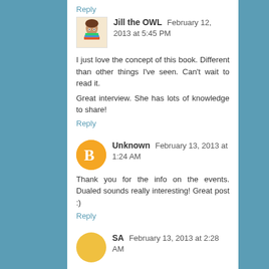Reply
Jill the OWL  February 12, 2013 at 5:45 PM
I just love the concept of this book. Different than other things I've seen. Can't wait to read it.
Great interview. She has lots of knowledge to share!
Reply
Unknown  February 13, 2013 at 1:24 AM
Thank you for the info on the events. Dualed sounds really interesting! Great post :)
Reply
SA  February 13, 2013 at 2:28 AM